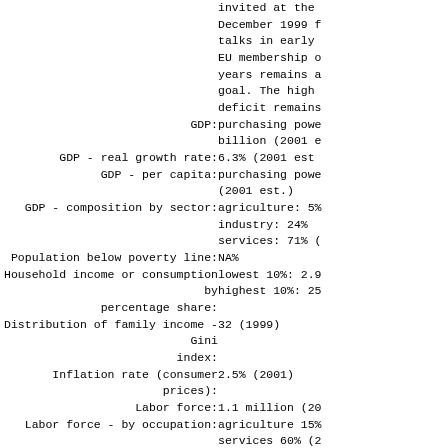invited at the December 1999 f talks in early EU membership o years remains a goal. The high deficit remains
GDP: purchasing powe billion (2001 e
GDP - real growth rate: 6.3% (2001 est
GDP - per capita: purchasing powe (2001 est.)
GDP - composition by sector: agriculture: 5% industry: 24% services: 71% (
Population below poverty line: NA%
Household income or consumption by percentage share: lowest 10%: 2.9 highest 10%: 25
Distribution of family income - Gini index: 32 (1999)
Inflation rate (consumer prices): 2.5% (2001)
Labor force: 1.1 million (20
Labor force - by occupation: agriculture 15% services 60% (2
Unemployment rate: 7.6% (2001 est
Budget: revenues: $2.4 expenditures: $ including capit $NA (2002 est.
Industries: buses, vans, st